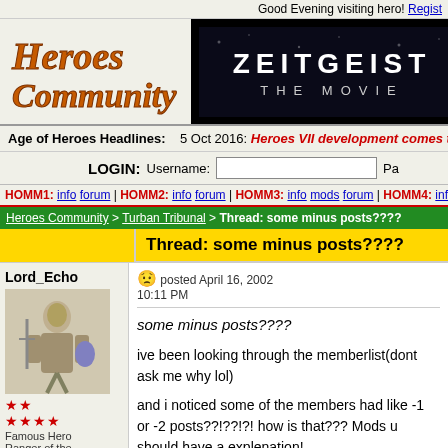Good Evening visiting hero! Register
[Figure (logo): Heroes Community logo in orange/brown stylized font]
[Figure (screenshot): Zeitgeist The Movie banner ad - black background with white text]
Age of Heroes Headlines:  5 Oct 2016: Heroes VII development comes to a
LOGIN:  Username:  Pa
HOMM1: info forum | HOMM2: info forum | HOMM3: info mods forum | HOMM4: info CTG forum
Heroes Community > Turban Tribunal > Thread: some minus posts????
Thread: some minus posts????
Lord_Echo
posted April 16, 2002 10:11 PM
some minus posts????  ive been looking through the memberlist(dont ask me why lol)  and i noticed some of the members had like -1 or -2 posts??!??!?! how is that??? Mods u should have a explenation!